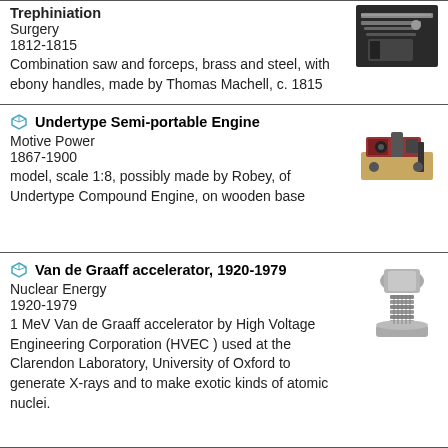Trephiniation
Surgery
1812-1815
Combination saw and forceps, brass and steel, with ebony handles, made by Thomas Machell, c. 1815
[Figure (photo): Photo of a surgical saw and forceps instrument with dark handles]
Undertype Semi-portable Engine
Motive Power
1867-1900
model, scale 1:8, possibly made by Robey, of Undertype Compound Engine, on wooden base
[Figure (photo): Photo of a small model steam engine on a wooden base, red and black coloring]
Van de Graaff accelerator, 1920-1979
Nuclear Energy
1920-1979
1 MeV Van de Graaff accelerator by High Voltage Engineering Corporation (HVEC ) used at the Clarendon Laboratory, University of Oxford to generate X-rays and to make exotic kinds of atomic nuclei.
[Figure (photo): Photo of a Van de Graaff accelerator device, cylindrical metallic column]